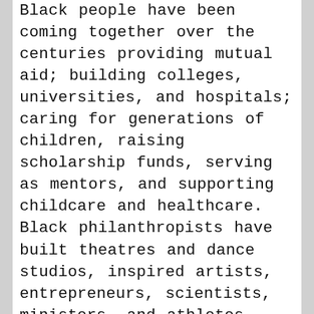Black people have been coming together over the centuries providing mutual aid; building colleges, universities, and hospitals; caring for generations of children, raising scholarship funds, serving as mentors, and supporting childcare and healthcare. Black philanthropists have built theatres and dance studios, inspired artists, entrepreneurs, scientists, ministers, and athletes. While Black people are often portrayed as recipients of philanthropy within the culture at large, the truth is that Black people have been giving, strategizing, visioning, and leading for the past 400 years. This powerful history is recognized and celebrated each August as Black Philanthropy Month. This year the Community Foundation of Greater Memphis joined in the celebration with an